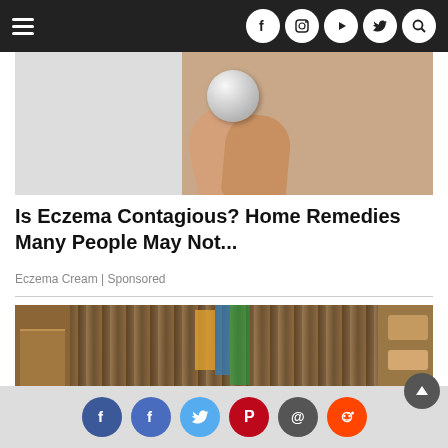Navigation bar with hamburger menu and social icons (Facebook, Instagram, YouTube, Twitter, Search)
[Figure (photo): Close-up photo of a hand/finger holding a small round pill or capsule against a white background]
Is Eczema Contagious? Home Remedies Many People May Not...
Eczema Cream | Sponsored
[Figure (photo): Photo of a very messy, cluttered bedroom with wooden dresser, stuffed animals, books, and various items piled on surfaces]
Social share icons: Facebook, Facebook, Twitter, Pinterest, Email, Reddit